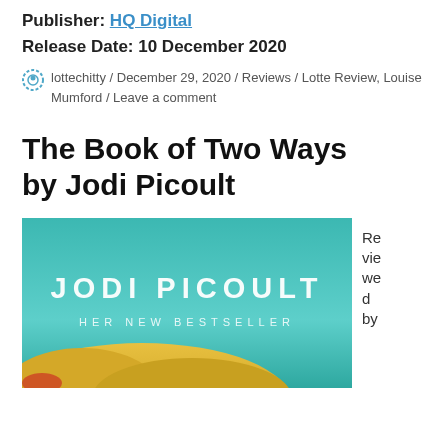Publisher: HQ Digital
Release Date: 10 December 2020
lottechitty / December 29, 2020 / Reviews / Lotte Review, Louise Mumford / Leave a comment
The Book of Two Ways by Jodi Picoult
[Figure (illustration): Book cover of 'The Book of Two Ways' by Jodi Picoult published by HQ Digital, showing teal/green background with yellow landmass at bottom, author name 'JODI PICOULT' in large white letters, and subtitle 'HER NEW BESTSELLER' below]
Reviewed by